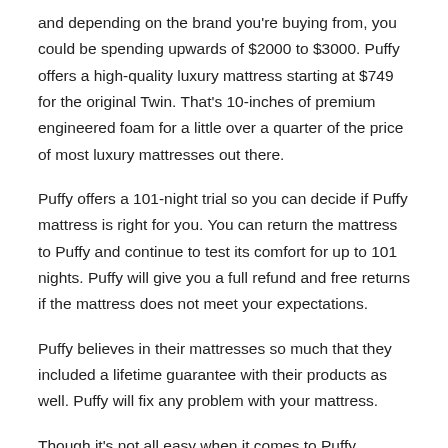and depending on the brand you're buying from, you could be spending upwards of $2000 to $3000. Puffy offers a high-quality luxury mattress starting at $749 for the original Twin. That's 10-inches of premium engineered foam for a little over a quarter of the price of most luxury mattresses out there.
Puffy offers a 101-night trial so you can decide if Puffy mattress is right for you. You can return the mattress to Puffy and continue to test its comfort for up to 101 nights. Puffy will give you a full refund and free returns if the mattress does not meet your expectations.
Puffy believes in their mattresses so much that they included a lifetime guarantee with their products as well. Puffy will fix any problem with your mattress.
Though it's not all easy when it comes to Puffy mattresses of different sizes, a twin mattress may get you where you need to go if you're single or you don't plan on sharing the bed with anyone.